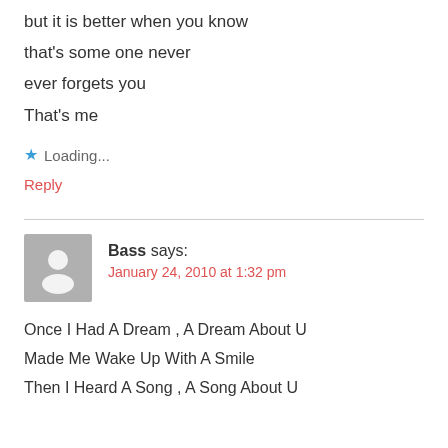but it is better when you know
that's some one never
ever forgets you
That's me
★ Loading...
Reply
Bass says:
January 24, 2010 at 1:32 pm
Once I Had A Dream , A Dream About U
Made Me Wake Up With A Smile
Then I Heard A Song , A Song About U